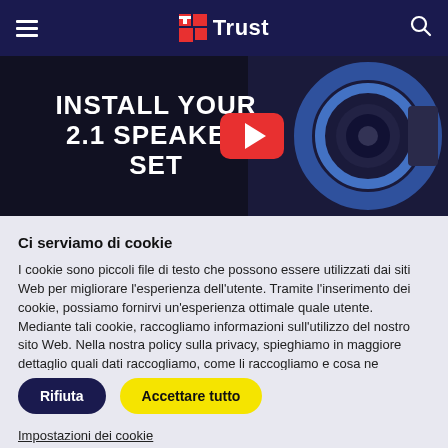Trust — navigation bar with hamburger menu, Trust logo, and search icon
[Figure (screenshot): YouTube video thumbnail showing text 'INSTALL YOUR 2.1 SPEAKER SET' with a red YouTube play button and a blue illuminated speaker on dark background]
Ci serviamo di cookie
I cookie sono piccoli file di testo che possono essere utilizzati dai siti Web per migliorare l'esperienza dell'utente. Tramite l'inserimento dei cookie, possiamo fornirvi un'esperienza ottimale quale utente. Mediante tali cookie, raccogliamo informazioni sull'utilizzo del nostro sito Web. Nella nostra policy sulla privacy, spieghiamo in maggiore dettaglio quali dati raccogliamo, come li raccogliamo e cosa ne facciamo. Maggiori informazioni sulla nostra policy sui cookie
Rifiuta | Accettare tutto
Impostazioni dei cookie